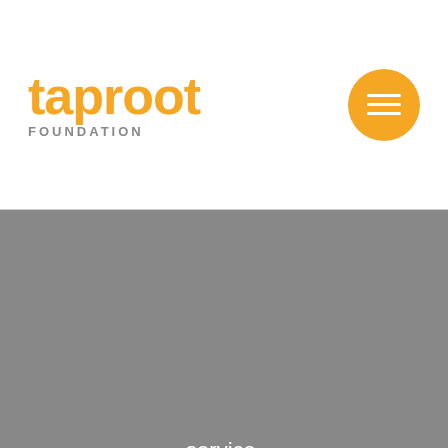[Figure (logo): Taproot Foundation logo with orange text and hamburger menu button]
service.
JOIN ▶
Nonprofits
Corporate
Volunteers
FAQs
Resources
Case Studies
Blog
Press